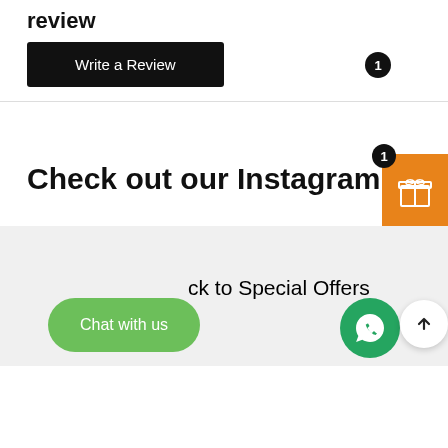review
Write a Review
Check out our Instagram
ck to Special Offers
Chat with us